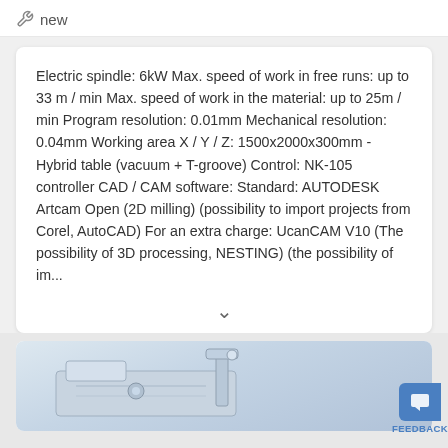new
Electric spindle: 6kW Max. speed of work in free runs: up to 33 m / min Max. speed of work in the material: up to 25m / min Program resolution: 0.01mm Mechanical resolution: 0.04mm Working area X / Y / Z: 1500x2000x300mm - Hybrid table (vacuum + T-groove) Control: NK-105 controller CAD / CAM software: Standard: AUTODESK Artcam Open (2D milling) (possibility to import projects from Corel, AutoCAD) For an extra charge: UcanCAM V10 (The possibility of 3D processing, NESTING) (the possibility of im...
[Figure (photo): Machine equipment photo at bottom of page]